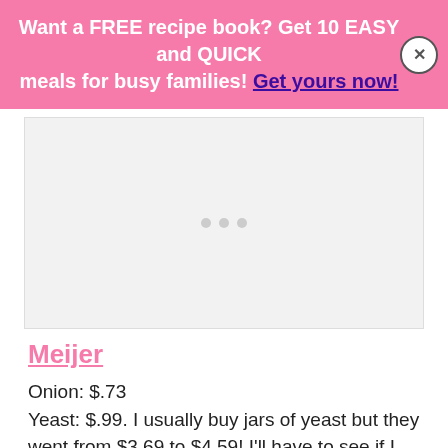Want a FREE recipe book? Get 10 EASY and QUICK meals for busy families! Get yours now!
[Figure (other): Placeholder image area with three gray dots indicating a loading or empty image slot]
Meijer
Onion: $.73
Yeast: $.99. I usually buy jars of yeast but they went from $3.69 to $4.59! I'll have to see if I can